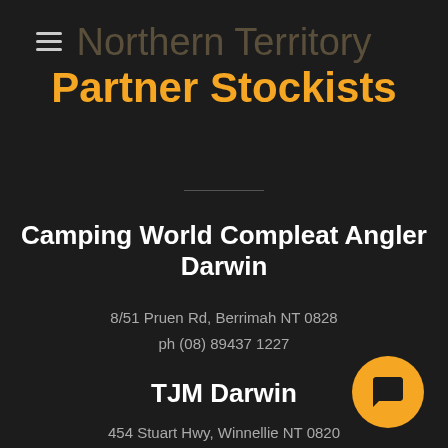Northern Territory Partner Stockists
Camping World Compleat Angler Darwin
8/51 Pruen Rd, Berrimah NT 0828
ph (08) 89437 1227
TJM Darwin
454 Stuart Hwy, Winnellie NT 0820
ph (08) 8995 8800